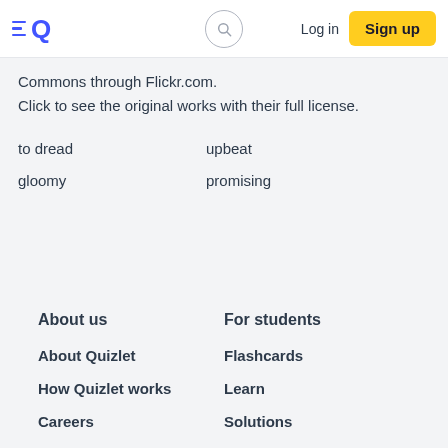Quizlet | Log in | Sign up
Commons through Flickr.com.
Click to see the original works with their full license.
to dread	upbeat
gloomy	promising
About us
For students
About Quizlet
Flashcards
How Quizlet works
Learn
Careers
Solutions
Advertise with us
Modern Learning Lab